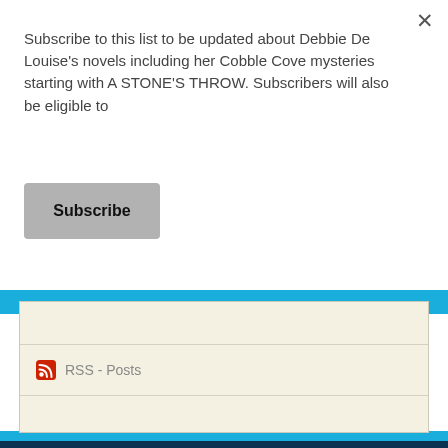Subscribe to this list to be updated about Debbie De Louise's novels including her Cobble Cove mysteries starting with A STONE'S THROW. Subscribers will also be eligible to
Subscribe
RSS - Posts
Archives
August 2022